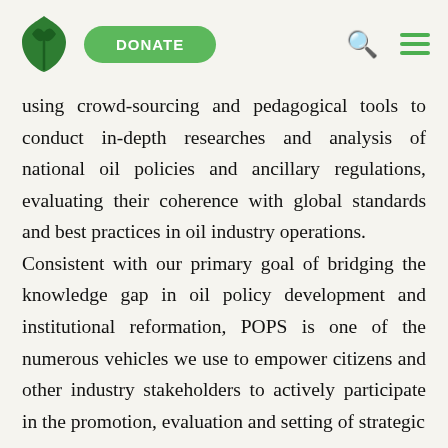DONATE
using crowd-sourcing and pedagogical tools to conduct in-depth researches and analysis of national oil policies and ancillary regulations, evaluating their coherence with global standards and best practices in oil industry operations. Consistent with our primary goal of bridging the knowledge gap in oil policy development and institutional reformation, POPS is one of the numerous vehicles we use to empower citizens and other industry stakeholders to actively participate in the promotion, evaluation and setting of strategic